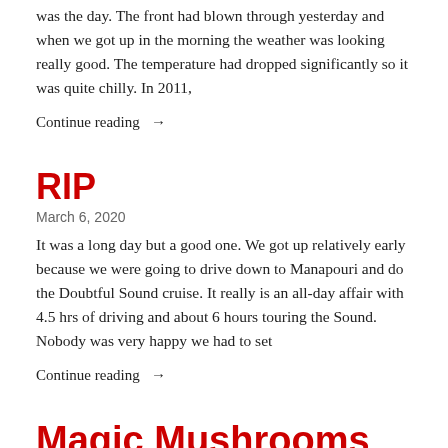was the day. The front had blown through yesterday and when we got up in the morning the weather was looking really good. The temperature had dropped significantly so it was quite chilly. In 2011,
Continue reading →
RIP
March 6, 2020
It was a long day but a good one. We got up relatively early because we were going to drive down to Manapouri and do the Doubtful Sound cruise. It really is an all-day affair with 4.5 hrs of driving and about 6 hours touring the Sound. Nobody was very happy we had to set
Continue reading →
Magic Mushrooms
March 7, 2020